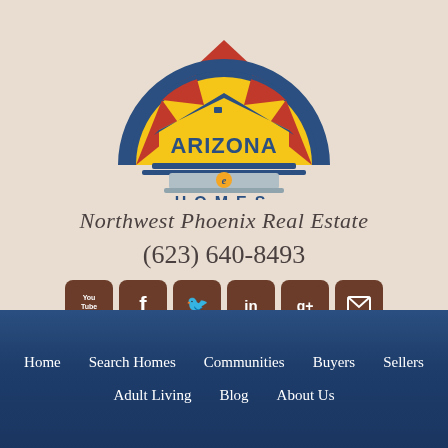[Figure (logo): Arizona eHomes logo: semicircular sun with blue border, red triangular segments, yellow rays, house silhouette with 'ARIZONA' text and 'e' emblem, laptop graphic below, 'HOMES' text in blue spaced letters]
Northwest Phoenix Real Estate
(623) 640-8493
[Figure (infographic): Row of 6 social media icon buttons in brown rounded squares: YouTube, Facebook, Twitter, LinkedIn, Google+, Email]
Home
Search Homes
Communities
Buyers
Sellers
Adult Living
Blog
About Us